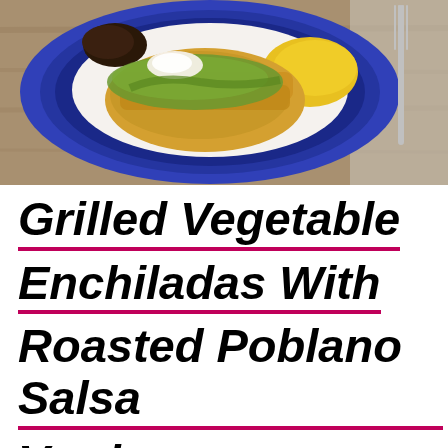[Figure (photo): Overhead photo of a blue decorative ceramic plate with grilled vegetable enchiladas topped with green salsa verde and sour cream, served with yellow rice and black beans on a wooden table surface with a silver fork visible on the right side.]
Grilled Vegetable Enchiladas With Roasted Poblano Salsa Verde